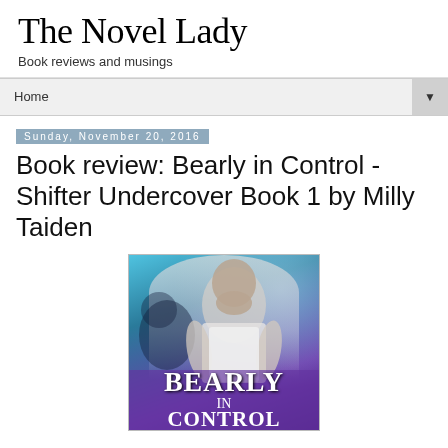The Novel Lady
Book reviews and musings
Home ▼
Sunday, November 20, 2016
Book review: Bearly in Control - Shifter Undercover Book 1 by Milly Taiden
[Figure (illustration): Book cover for 'Bearly in Control' showing a muscular man in a white tank top with a bear silhouette in a blue/purple forest background. Large text reads BEARLY IN CONTROL at the bottom.]